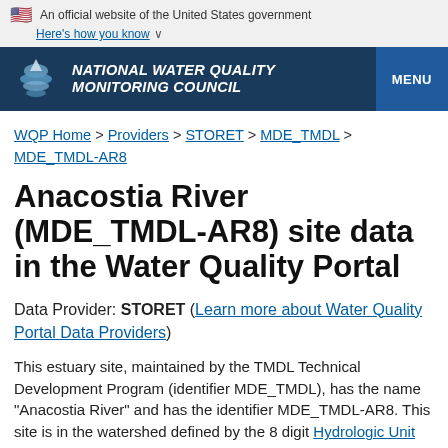An official website of the United States government Here's how you know
NATIONAL WATER QUALITY MONITORING COUNCIL MENU
WQP Home > Providers > STORET > MDE_TMDL > MDE_TMDL-AR8
Anacostia River (MDE_TMDL-AR8) site data in the Water Quality Portal
Data Provider: STORET (Learn more about Water Quality Portal Data Providers)
This estuary site, maintained by the TMDL Technical Development Program (identifier MDE_TMDL), has the name "Anacostia River" and has the identifier MDE_TMDL-AR8. This site is in the watershed defined by the 8 digit Hydrologic Unit Code (HUC) 02070010. You can learn more